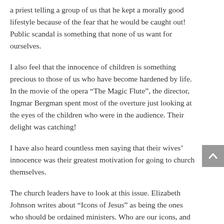a priest telling a group of us that he kept a morally good lifestyle because of the fear that he would be caught out! Public scandal is something that none of us want for ourselves.
I also feel that the innocence of children is something precious to those of us who have become hardened by life. In the movie of the opera “The Magic Flute”, the director, Ingmar Bergman spent most of the overture just looking at the eyes of the children who were in the audience. Their delight was catching!
I have also heard countless men saying that their wives’ innocence was their greatest motivation for going to church themselves.
The church leaders have to look at this issue. Elizabeth Johnson writes about “Icons of Jesus” as being the ones who should be ordained ministers. Who are our icons, and are they ever considered for leadership? As women, God models for the rest...